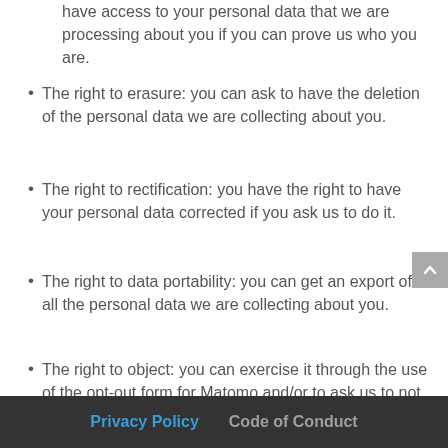have access to your personal data that we are processing about you if you can prove us who you are.
The right to erasure: you can ask to have the deletion of the personal data we are collecting about you.
The right to rectification: you have the right to have your personal data corrected if you ask us to do it.
The right to data portability: you can get an export of all the personal data we are collecting about you.
The right to object: you can exercise it through the use of the opt-out form for Matomo and/or to ask us to not process your email for example.
Other rights over your data under the GDPR regulation seem not applicable but feel free to contact us if you think that it is not the case.
Privacy Policy   Code of Conduct